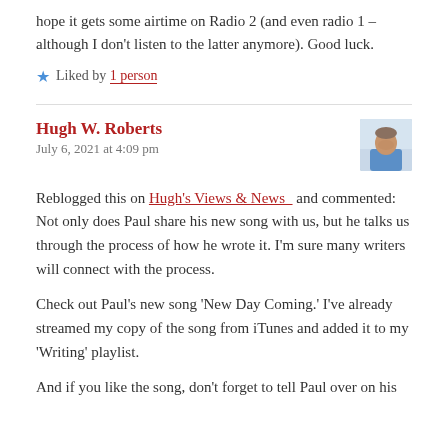hope it gets some airtime on Radio 2 (and even radio 1 – although I don't listen to the latter anymore). Good luck.
★ Liked by 1 person
Hugh W. Roberts
July 6, 2021 at 4:09 pm
[Figure (photo): Avatar photo of Hugh W. Roberts, a man in a blue shirt]
Reblogged this on Hugh's Views & News  and commented: Not only does Paul share his new song with us, but he talks us through the process of how he wrote it. I'm sure many writers will connect with the process.
Check out Paul's new song 'New Day Coming.' I've already streamed my copy of the song from iTunes and added it to my 'Writing' playlist.
And if you like the song, don't forget to tell Paul over on his